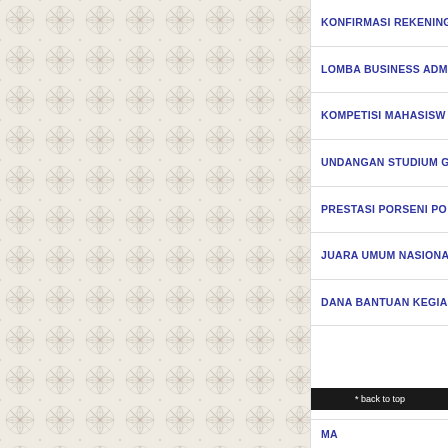[Figure (illustration): Decorative geometric floral pattern background in light beige/cream with subtle pink accents, covering the left two-thirds of the page]
KONFIRMASI REKENING
LOMBA BUSINESS ADM...
KOMPETISI MAHASISW...
UNDANGAN STUDIUM G...
PRESTASI PORSENI PO...
JUARA UMUM NASIONA...
DANA BANTUAN KEGIA...
* back to top
MA...